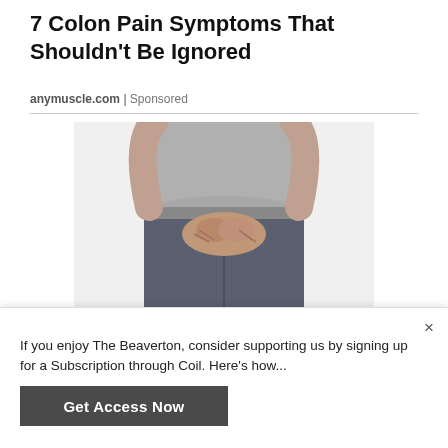7 Colon Pain Symptoms That Shouldn't Be Ignored
anymuscle.com | Sponsored
[Figure (photo): Person wearing grey t-shirt and dark jeans, holding hands clasped together at waist/groin area against white background]
If you enjoy The Beaverton, consider supporting us by signing up for a Subscription through Coil. Here's how...
Get Access Now